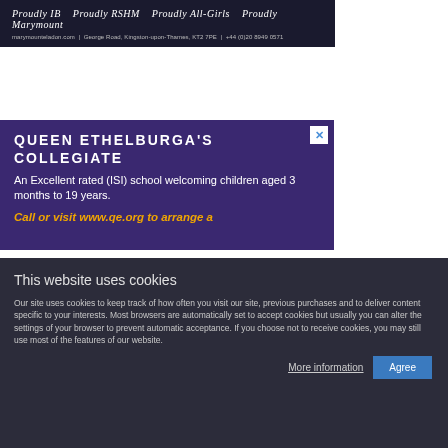Proudly IB   Proudly RSHM   Proudly All-Girls   Proudly Marymount | marymounteladon.com  |  George Road, Kingston-upon-Thames, KT2 7PE  |  +44 (0)20 8949 0571
[Figure (screenshot): Queen Ethelburga's Collegiate advertisement with purple background. Title: QUEEN ETHELBURGA'S COLLEGIATE. Body: An Excellent rated (ISI) school welcoming children aged 3 months to 19 years. CTA: Call or visit www.qe.org to arrange a]
This website uses cookies
Our site uses cookies to keep track of how often you visit our site, previous purchases and to deliver content specific to your interests. Most browsers are automatically set to accept cookies but usually you can alter the settings of your browser to prevent automatic acceptance. If you choose not to receive cookies, you may still use most of the features of our website.
More information   Agree